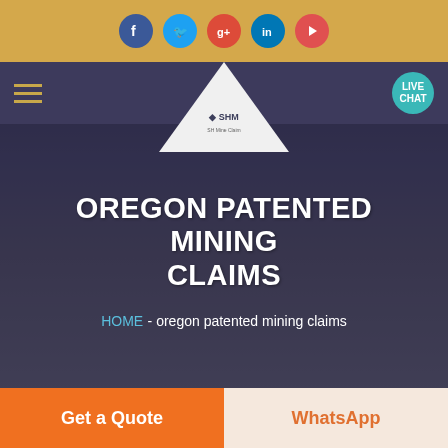Social media icons: Facebook, Twitter, Google+, LinkedIn, YouTube
[Figure (screenshot): Navigation bar with hamburger menu, SHM logo in white triangle, and LIVE CHAT teal button]
OREGON PATENTED MINING CLAIMS
HOME  -  oregon patented mining claims
[Figure (photo): Partial image of maps/documents on a table visible at the bottom of the hero section]
Get a Quote
WhatsApp